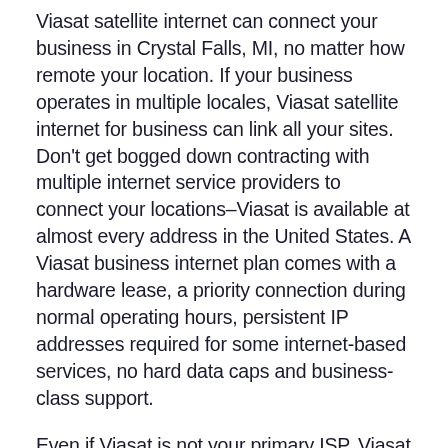Viasat satellite internet can connect your business in Crystal Falls, MI, no matter how remote your location. If your business operates in multiple locales, Viasat satellite internet for business can link all your sites. Don't get bogged down contracting with multiple internet service providers to connect your locations–Viasat is available at almost every address in the United States. A Viasat business internet plan comes with a hardware lease, a priority connection during normal operating hours, persistent IP addresses required for some internet-based services, no hard data caps and business-class support.
Even if Viasat is not your primary ISP, Viasat business internet can provide a backup connection that will take over if cable or fiber internet go down in Crystal Falls. With a redundant business connection, your business can continue to operate cash registers, update data, maintain security and operate master control systems, even if your primary internet provider is down for days. Add a secondary